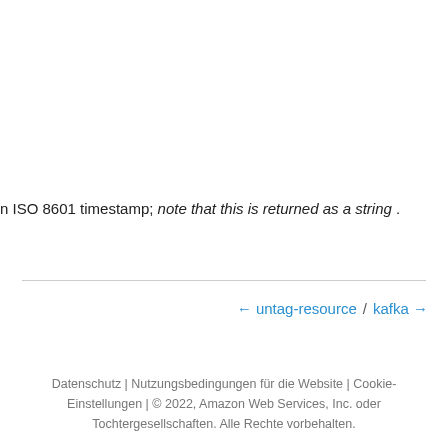n ISO 8601 timestamp; note that this is returned as a string .
← untag-resource  /  kafka →
Datenschutz | Nutzungsbedingungen für die Website | Cookie-Einstellungen | © 2022, Amazon Web Services, Inc. oder Tochtergesellschaften. Alle Rechte vorbehalten.